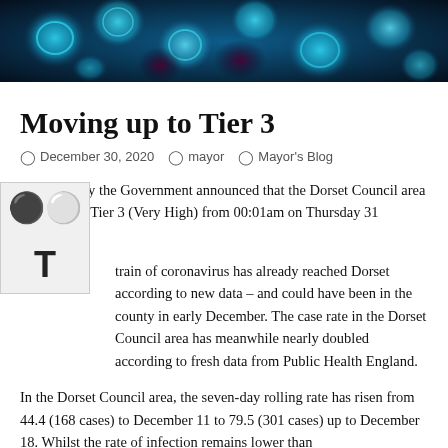[Figure (photo): Microscope image of coronavirus/cell particles in blue and dark tones]
Moving up to Tier 3
December 30, 2020   mayor   Mayor's Blog
Earlier today the Government announced that the Dorset Council area will go into Tier 3 (Very High) from 00:01am on Thursday 31 December.
…strain of coronavirus has already reached Dorset according to new data – and could have been in the county in early December. The case rate in the Dorset Council area has meanwhile nearly doubled according to fresh data from Public Health England.
In the Dorset Council area, the seven-day rolling rate has risen from 44.4 (168 cases) to December 11 to 79.5 (301 cases) up to December 18. Whilst the rate of infection remains lower than